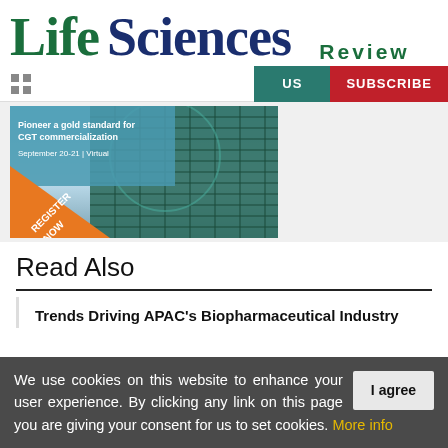Life Sciences Review
[Figure (screenshot): Navigation bar with grid icon, US button (teal), and SUBSCRIBE button (red)]
[Figure (photo): Conference advertisement banner: 'Pioneer a gold standard for CGT commercialization September 20-21 | Virtual' with orange REGISTER NOW triangle badge, showing a tall glass building]
Read Also
Trends Driving APAC's Biopharmaceutical Industry
We use cookies on this website to enhance your user experience. By clicking any link on this page you are giving your consent for us to set cookies. More info